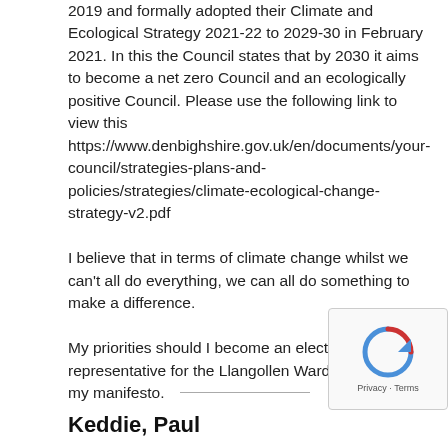2019 and formally adopted their Climate and Ecological Strategy 2021-22 to 2029-30 in February 2021. In this the Council states that by 2030 it aims to become a net zero Council and an ecologically positive Council. Please use the following link to view this https://www.denbighshire.gov.uk/en/documents/your-council/strategies-plans-and-policies/strategies/climate-ecological-change-strategy-v2.pdf
I believe that in terms of climate change whilst we can't all do everything, we can all do something to make a difference.
My priorities should I become an elected representative for the Llangollen Ward are set out in my manifesto.
Keddie, Paul